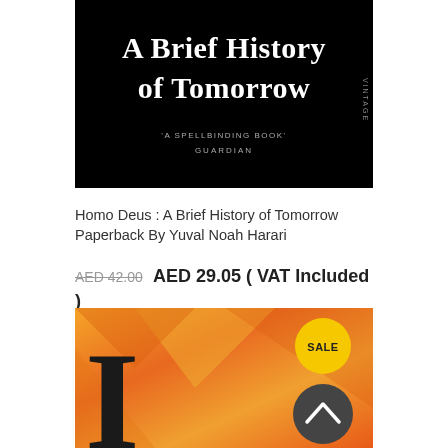[Figure (photo): Book cover of 'Homo Deus: A Brief History of Tomorrow' by Yuval Noah Harari. Black background with white serif title text and subtitle quote 'A SPELLBINDING BOOK' GUARDIAN. Vintage publisher label on right side.]
Homo Deus : A Brief History of Tomorrow Paperback By Yuval Noah Harari
AED 42.00 AED 29.05 ( VAT Included )
[Figure (photo): Bottom portion of a book cover with orange and amber gradient background, large black letter 'I' visible on the left. A yellow SALE badge circle in the top-right area and a dark circular scroll-to-top button below it.]